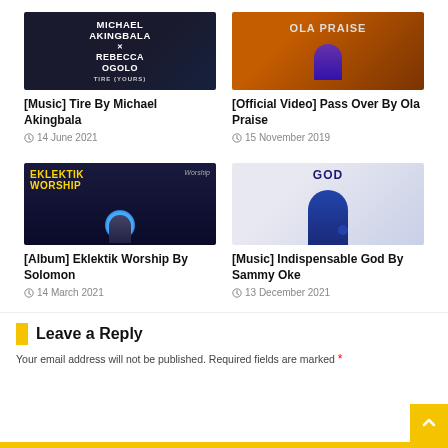[Figure (photo): Music cover art for Michael Akingbala x Rebecca Ogolo - Tire (Yours)]
[Music] Tire By Michael Akingbala
14 June 2021
[Figure (photo): Music video thumbnail for Ola Praise - Pass Over, orange background]
[Official Video] Pass Over By Ola Praise
15 November 2019
[Figure (photo): Album cover for Eklektik Worship by Solomon, man looking up with blue stage light]
[Album] Eklektik Worship By Solomon
14 March 2021
[Figure (photo): Music cover for Indispensable God by Sammy Oke, man in suit giving thumbs up]
[Music] Indispensable God By Sammy Oke
13 December 2021
Leave a Reply
Your email address will not be published. Required fields are marked *